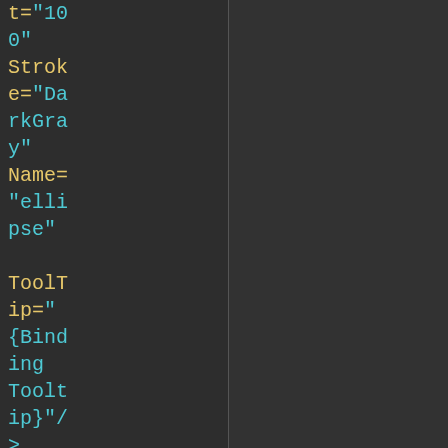t="100" Stroke="DarkGray" Name="ellipse"

ToolTip="{Binding Tooltip}"/>

<TextBlock Text="